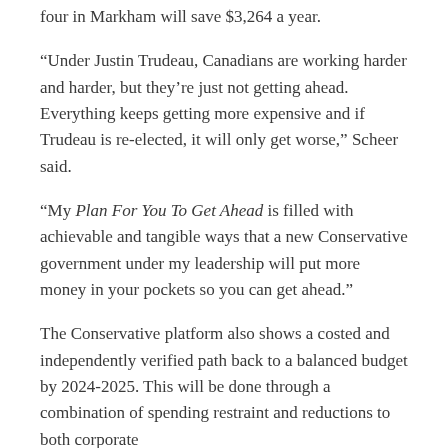four in Markham will save $3,264 a year.
“Under Justin Trudeau, Canadians are working harder and harder, but they’re just not getting ahead. Everything keeps getting more expensive and if Trudeau is re-elected, it will only get worse,” Scheer said.
“My Plan For You To Get Ahead is filled with achievable and tangible ways that a new Conservative government under my leadership will put more money in your pockets so you can get ahead.”
The Conservative platform also shows a costed and independently verified path back to a balanced budget by 2024-2025. This will be done through a combination of spending restraint and reductions to both corporate